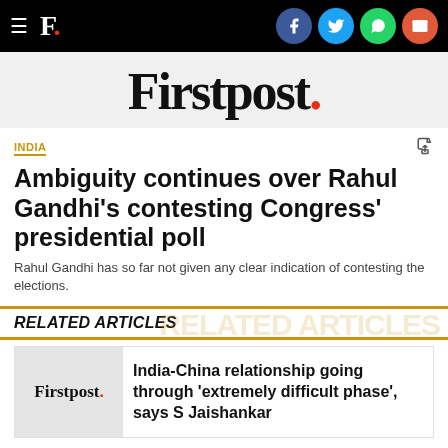F. [Firstpost logo with social icons: Facebook, Twitter, WhatsApp, Email]
[Figure (logo): Firstpost brand logo in large serif font with red period]
INDIA
Ambiguity continues over Rahul Gandhi's contesting Congress' presidential poll
Rahul Gandhi has so far not given any clear indication of contesting the elections.
RELATED ARTICLES
India-China relationship going through 'extremely difficult phase', says S Jaishankar